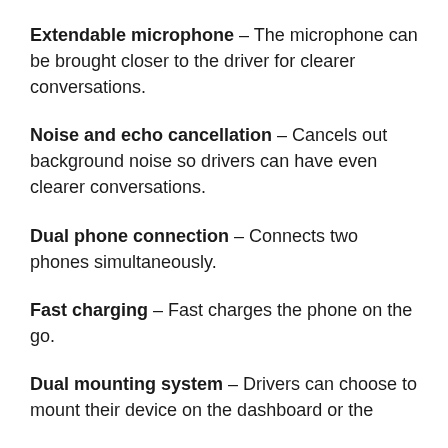Extendable microphone – The microphone can be brought closer to the driver for clearer conversations.
Noise and echo cancellation – Cancels out background noise so drivers can have even clearer conversations.
Dual phone connection – Connects two phones simultaneously.
Fast charging – Fast charges the phone on the go.
Dual mounting system – Drivers can choose to mount their device on the dashboard or the